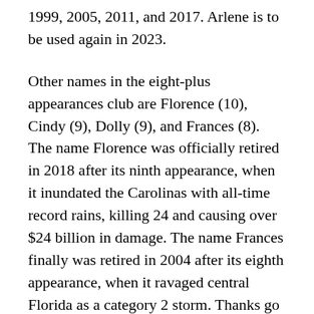1999, 2005, 2011, and 2017. Arlene is to be used again in 2023.
Other names in the eight-plus appearances club are Florence (10), Cindy (9), Dolly (9), and Frances (8). The name Florence was officially retired in 2018 after its ninth appearance, when it inundated the Carolinas with all-time record rains, killing 24 and causing over $24 billion in damage. The name Frances finally was retired in 2004 after its eighth appearance, when it ravaged central Florida as a category 2 storm. Thanks go to Mark Cole for providing the statistics on these five